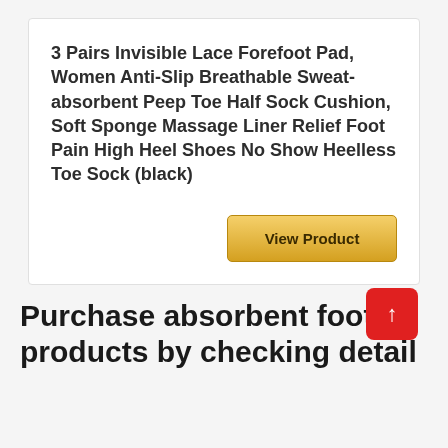3 Pairs Invisible Lace Forefoot Pad, Women Anti-Slip Breathable Sweat-absorbent Peep Toe Half Sock Cushion, Soft Sponge Massage Liner Relief Foot Pain High Heel Shoes No Show Heelless Toe Sock (black)
View Product
Purchase absorbent foot products by checking detail